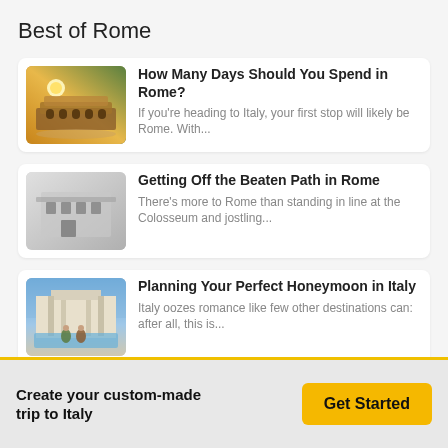Best of Rome
How Many Days Should You Spend in Rome? — If you're heading to Italy, your first stop will likely be Rome. With...
Getting Off the Beaten Path in Rome — There's more to Rome than standing in line at the Colosseum and jostling...
Planning Your Perfect Honeymoon in Italy — Italy oozes romance like few other destinations can: after all, this is...
Ultimate Guide to Rome: Italy's Enigmatic Capital City — Ah, there's no place like Rome! The Italian capital never loses its...
Create your custom-made trip to Italy
Get Started